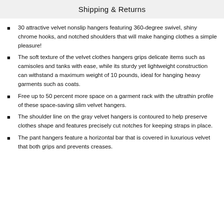Shipping & Returns
30 attractive velvet nonslip hangers featuring 360-degree swivel, shiny chrome hooks, and notched shoulders that will make hanging clothes a simple pleasure!
The soft texture of the velvet clothes hangers grips delicate items such as camisoles and tanks with ease, while its sturdy yet lightweight construction can withstand a maximum weight of 10 pounds, ideal for hanging heavy garments such as coats.
Free up to 50 percent more space on a garment rack with the ultrathin profile of these space-saving slim velvet hangers.
The shoulder line on the gray velvet hangers is contoured to help preserve clothes shape and features precisely cut notches for keeping straps in place.
The pant hangers feature a horizontal bar that is covered in luxurious velvet that both grips and prevents creases.